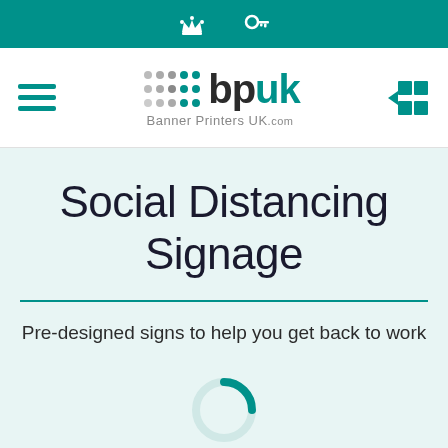Navigation bar with crown and key icons
[Figure (logo): bpuk Banner Printers UK.com logo with hamburger menu and grid icon]
Social Distancing Signage
Pre-designed signs to help you get back to work
[Figure (other): Loading spinner circle, partially teal colored]